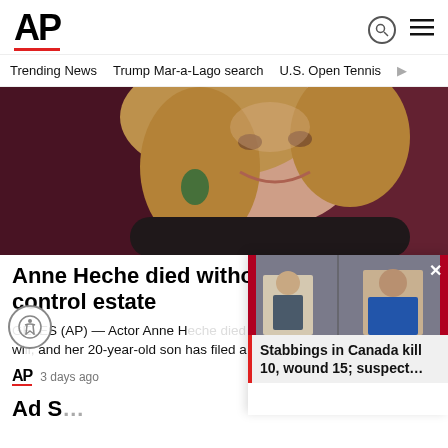AP
Trending News   Trump Mar-a-Lago search   U.S. Open Tennis
[Figure (photo): Photo of Anne Heche smiling, wearing green earrings, at a Prime event with dark red/maroon background]
Anne Heche died without a will to control estate
LOS ANGELES (AP) — Actor Anne Heche died without a will, and her 20-year-old son has filed a...
AP  3 days ago
[Figure (photo): Floating news card with photo of men in military/official setting with Canadian flags, showing mugshots]
Stabbings in Canada kill 10, wound 15; suspect...
Ad S...